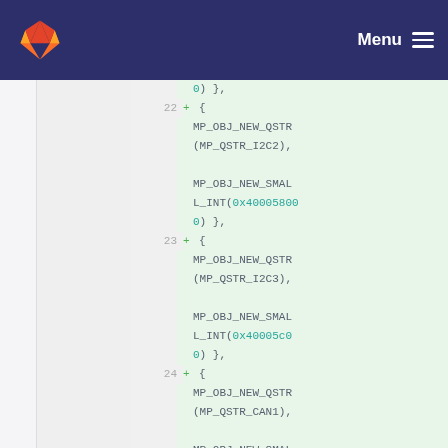GitLab — Menu
[Figure (screenshot): GitLab diff view showing added lines 22-24 with C code: MP_OBJ_NEW_QSTR and MP_OBJ_NEW_SMALL_INT macros for I2C2, I2C3, CAN1 entries]